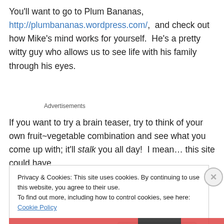You'll want to go to Plum Bananas, http://plumbanbananas.wordpress.com/,  and check out how Mike's mind works for yourself.  He's a pretty witty guy who allows us to see life with his family through his eyes.
Advertisements
If you want to try a brain teaser, try to think of your own fruit~vegetable combination and see what you come up with; it'll stalk you all day!  I mean… this site could have
Privacy & Cookies: This site uses cookies. By continuing to use this website, you agree to their use.
To find out more, including how to control cookies, see here: Cookie Policy
Close and accept